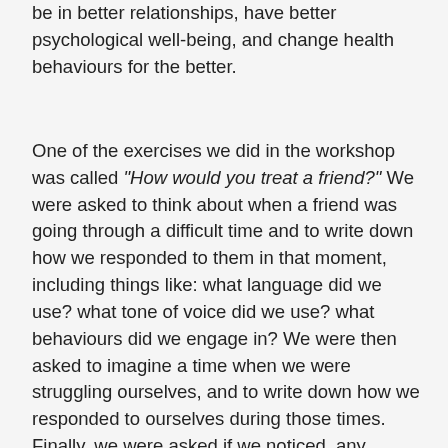People with higher self-compassion are more likely to be in better relationships, have better psychological well-being, and change health behaviours for the better.
One of the exercises we did in the workshop was called “How would you treat a friend?” We were asked to think about when a friend was going through a difficult time and to write down how we responded to them in that moment, including things like: what language did we use? what tone of voice did we use? what behaviours did we engage in? We were then asked to imagine a time when we were struggling ourselves, and to write down how we responded to ourselves during those times.  Finally, we were asked if we noticed  any differences in the way we responded to our friend and the way we responded to ourselves. Of the 20+ people in the room, every single person (myself included) reported